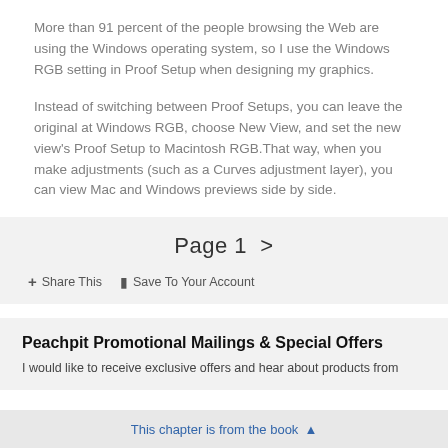More than 91 percent of the people browsing the Web are using the Windows operating system, so I use the Windows RGB setting in Proof Setup when designing my graphics.
Instead of switching between Proof Setups, you can leave the original at Windows RGB, choose New View, and set the new view's Proof Setup to Macintosh RGB.That way, when you make adjustments (such as a Curves adjustment layer), you can view Mac and Windows previews side by side.
Page 1  >
+ Share This  🔖 Save To Your Account
Peachpit Promotional Mailings & Special Offers
I would like to receive exclusive offers and hear about products from
This chapter is from the book  ▲